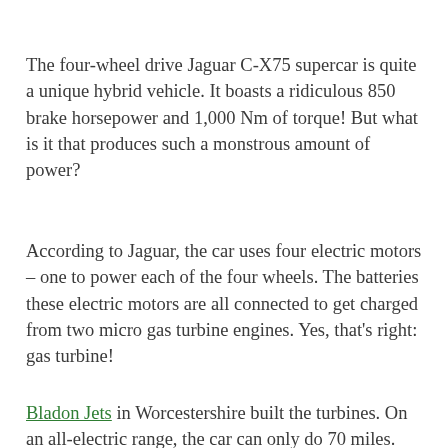The four-wheel drive Jaguar C-X75 supercar is quite a unique hybrid vehicle. It boasts a ridiculous 850 brake horsepower and 1,000 Nm of torque! But what is it that produces such a monstrous amount of power?
According to Jaguar, the car uses four electric motors – one to power each of the four wheels. The batteries these electric motors are all connected to get charged from two micro gas turbine engines. Yes, that's right: gas turbine!
Bladon Jets in Worcestershire built the turbines. On an all-electric range, the car can only do 70 miles. The Jaguar C-X75